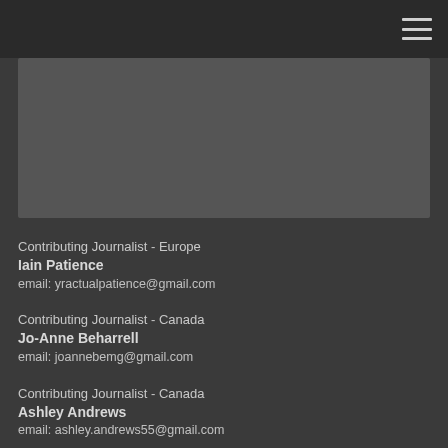[Figure (other): Dark grey navigation bar with hamburger menu icon in top right corner]
[Figure (other): Grey image placeholder rectangle]
Contributing Journalist - Europe
Iain Patience
email: yractualpatience@gmail.com
Contributing Journalist - Canada
Jo-Anne Beharrell
email: joannebemg@gmail.com
Contributing Journalist - Canada
Ashley Andrews
email: ashley.andrews55@gmail.com
Contributing Journalist & Staff Photographer - Canada
Fiona Lawson
email: fionalawson78@gmail.com